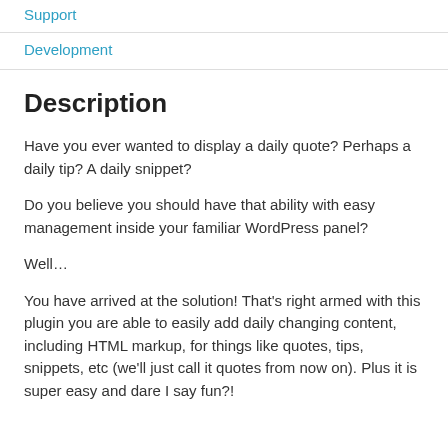Support
Development
Description
Have you ever wanted to display a daily quote? Perhaps a daily tip? A daily snippet?
Do you believe you should have that ability with easy management inside your familiar WordPress panel?
Well…
You have arrived at the solution! That's right armed with this plugin you are able to easily add daily changing content, including HTML markup, for things like quotes, tips, snippets, etc (we'll just call it quotes from now on). Plus it is super easy and dare I say fun?!